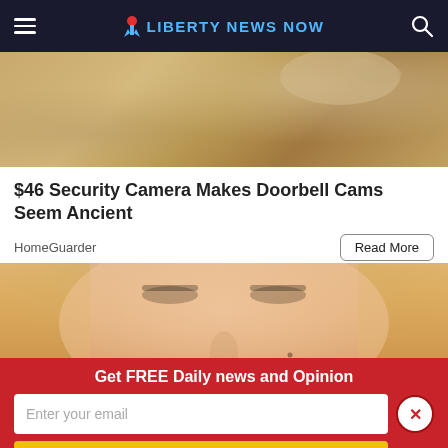Liberty News Now
[Figure (photo): Close-up photo of a textured tan wall with a hand near the top]
$46 Security Camera Makes Doorbell Cams Seem Ancient
HomeGuarder
Read More
[Figure (photo): Close-up photo of a woman's face showing eyes, nose, and cheeks]
Get FREE Daily news and Opinion
Enter your email
Subscribe